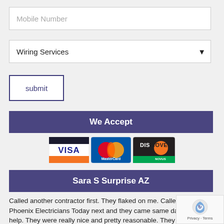Mobile Number
Wiring Services
submit
We Accept
[Figure (logo): Payment card logos: Visa, MasterCard, Discover]
Sara S Surprise AZ
Called another contractor first. They flaked on me. Called Phoenix Electricians Today next and they came same day to help. They were really nice and pretty reasonable. They will be getting all my future business.